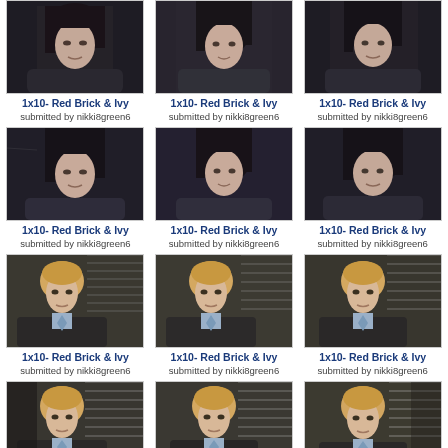[Figure (screenshot): TV show screenshot - woman with dark hair, row 1 col 1]
1x10- Red Brick & Ivy
submitted by nikki8green6
[Figure (screenshot): TV show screenshot - woman with dark hair, row 1 col 2]
1x10- Red Brick & Ivy
submitted by nikki8green6
[Figure (screenshot): TV show screenshot - woman with dark hair, row 1 col 3]
1x10- Red Brick & Ivy
submitted by nikki8green6
[Figure (screenshot): TV show screenshot - woman with dark hair, row 2 col 1]
1x10- Red Brick & Ivy
submitted by nikki8green6
[Figure (screenshot): TV show screenshot - woman with dark hair, row 2 col 2]
1x10- Red Brick & Ivy
submitted by nikki8green6
[Figure (screenshot): TV show screenshot - woman with dark hair, row 2 col 3]
1x10- Red Brick & Ivy
submitted by nikki8green6
[Figure (screenshot): TV show screenshot - blond man in suit, row 3 col 1]
1x10- Red Brick & Ivy
submitted by nikki8green6
[Figure (screenshot): TV show screenshot - blond man in suit, row 3 col 2]
1x10- Red Brick & Ivy
submitted by nikki8green6
[Figure (screenshot): TV show screenshot - blond man in suit, row 3 col 3]
1x10- Red Brick & Ivy
submitted by nikki8green6
[Figure (screenshot): TV show screenshot - blond man in suit, row 4 col 1]
1x10- Red Brick & Ivy
submitted by nikki8green6
[Figure (screenshot): TV show screenshot - blond man in suit, row 4 col 2]
1x10- Red Brick & Ivy
submitted by nikki8green6
[Figure (screenshot): TV show screenshot - blond man in suit, row 4 col 3]
1x10- Red Brick & Ivy
submitted by nikki8green6
[Figure (screenshot): TV show screenshot - blond man in suit, row 5 col 1 (partial)]
1x10- Red Brick & Ivy
[Figure (screenshot): TV show screenshot - blond man in suit, row 5 col 2 (partial)]
1x10- Red Brick & Ivy
[Figure (screenshot): TV show screenshot - blond man in suit, row 5 col 3 (partial)]
1x10- Red Brick & Ivy